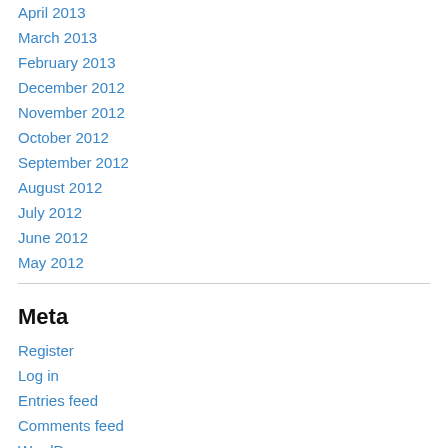April 2013
March 2013
February 2013
December 2012
November 2012
October 2012
September 2012
August 2012
July 2012
June 2012
May 2012
Meta
Register
Log in
Entries feed
Comments feed
WordPress.com